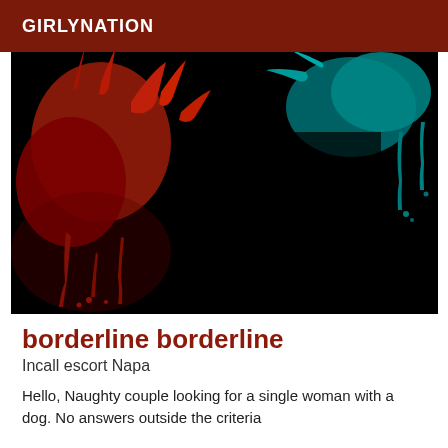GIRLYNATION
[Figure (photo): Abstract paint splash photo: red paint splash on the left, teal/cyan paint splash on the upper right, against a nearly black background.]
borderline borderline
Incall escort Napa
Hello, Naughty couple looking for a single woman with a dog. No answers outside the criteria